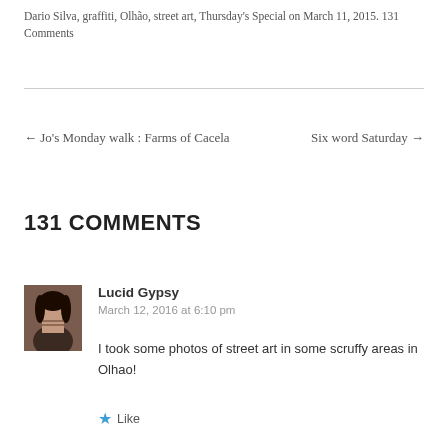Dario Silva, graffiti, Olhão, street art, Thursday's Special on March 11, 2015. 131 Comments
← Jo's Monday walk : Farms of Cacela     Six word Saturday →
131 COMMENTS
Lucid Gypsy
March 12, 2016 at 6:10 pm
I took some photos of street art in some scruffy areas in Olhao!
★ Like